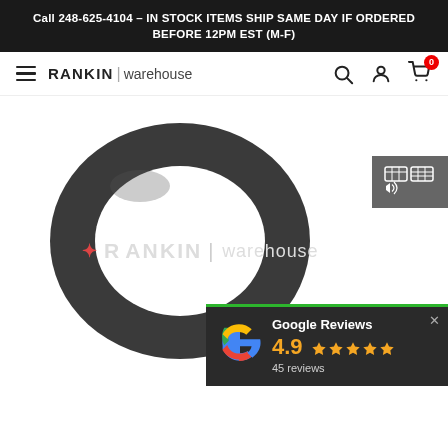Call 248-625-4104 – IN STOCK ITEMS SHIP SAME DAY IF ORDERED BEFORE 12PM EST (M-F)
[Figure (logo): RANKIN warehouse logo with hamburger menu and icons for search, account, and cart (showing 0 items)]
[Figure (photo): A dark gray rubber O-ring / gasket (toroidal ring shape) on white background, with RANKIN warehouse watermark]
[Figure (screenshot): Google Reviews popup showing 4.9 stars from 45 reviews]